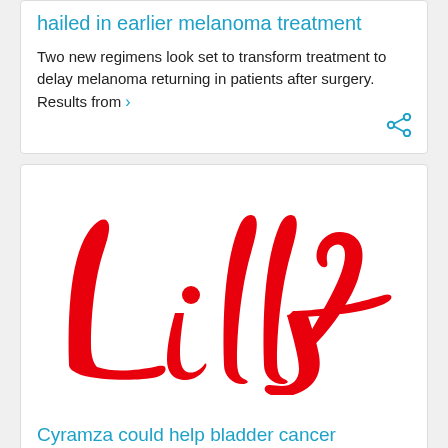hailed in earlier melanoma treatment
Two new regimens look set to transform treatment to delay melanoma returning in patients after surgery. Results from ›
[Figure (logo): Eli Lilly and Company logo — 'Lilly' in red cursive script]
Cyramza could help bladder cancer patients who don't respond to immunotherapy